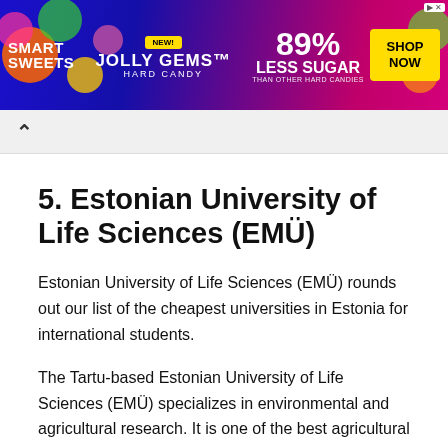[Figure (other): Advertisement banner for Smart Sweets Jolly Gems Hard Candy showing 89% Less Sugar than other hard candies with Shop Now button]
^
5. Estonian University of Life Sciences (EMÜ)
Estonian University of Life Sciences (EMÜ) rounds out our list of the cheapest universities in Estonia for international students.
The Tartu-based Estonian University of Life Sciences (EMÜ) specializes in environmental and agricultural research. It is one of the best agricultural and